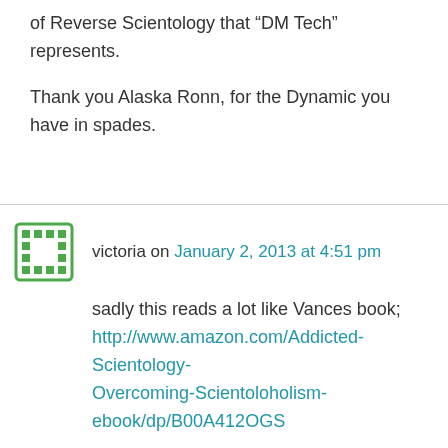of Reverse Scientology that “DM Tech” represents.
Thank you Alaska Ronn, for the Dynamic you have in spades.
victoria on January 2, 2013 at 4:51 pm
sadly this reads a lot like Vances book; http://www.amazon.com/Addicted-Scientology-Overcoming-Scientoloholism-ebook/dp/B00A412OGS
all the guy ever wanted to do was be an auditor, $650,000 later he was blocked from auditing AND training, seriously where are you meant to go after that? and they wonder why there are